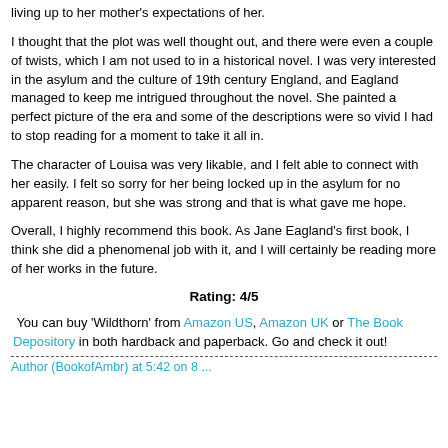living up to her mother's expectations of her.
I thought that the plot was well thought out, and there were even a couple of twists, which I am not used to in a historical novel. I was very interested in the asylum and the culture of 19th century England, and Eagland managed to keep me intrigued throughout the novel. She painted a perfect picture of the era and some of the descriptions were so vivid I had to stop reading for a moment to take it all in.
The character of Louisa was very likable, and I felt able to connect with her easily. I felt so sorry for her being locked up in the asylum for no apparent reason, but she was strong and that is what gave me hope.
Overall, I highly recommend this book. As Jane Eagland's first book, I think she did a phenomenal job with it, and I will certainly be reading more of her works in the future.
Rating: 4/5
You can buy 'Wildthorn' from Amazon US, Amazon UK or The Book Depository in both hardback and paperback. Go and check it out!
Author (BookofAmbr) at 5:42 on 8 ...